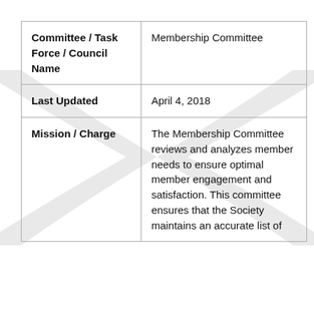| Field | Value |
| --- | --- |
| Committee / Task Force / Council Name | Membership Committee |
| Last Updated | April 4, 2018 |
| Mission / Charge | The Membership Committee reviews and analyzes member needs to ensure optimal member engagement and satisfaction. This committee ensures that the Society maintains an accurate list of |